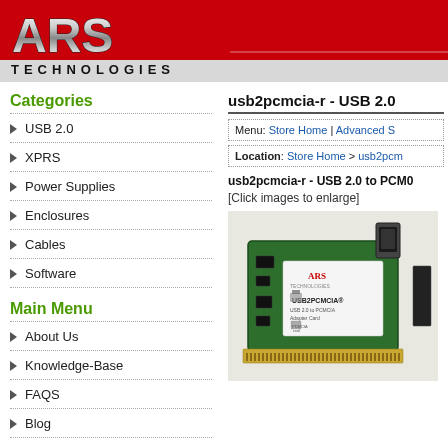[Figure (logo): ARS Technologies logo with red background header]
Categories
USB 2.0
XPRS
Power Supplies
Enclosures
Cables
Software
Main Menu
About Us
Knowledge-Base
FAQS
Blog
usb2pcmcia-r - USB 2.0
Menu: Store Home | Advanced S
Location: Store Home > usb2pcm
usb2pcmcia-r - USB 2.0 to PCM0
[Click images to enlarge]
[Figure (photo): USB 2.0 to PCMCIA adapter circuit board product photo showing green PCB with USB connector and card edge connector]